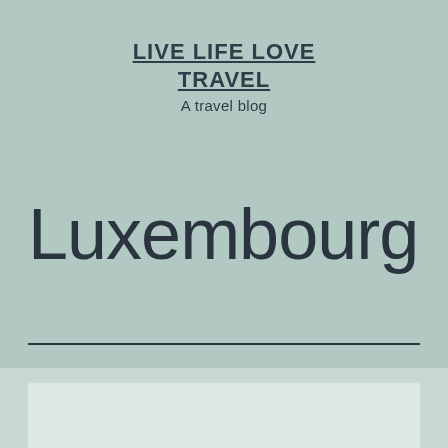LIVE LIFE LOVE TRAVEL
A travel blog
Luxembourg
[Figure (photo): Partial view of a photo at the bottom of the page, appears to show a light-colored scene, likely a cityscape or landscape related to Luxembourg]